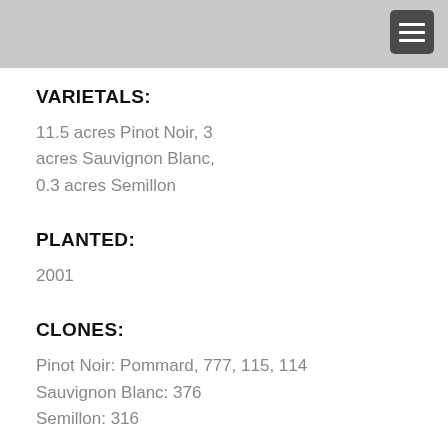VARIETALS:
11.5 acres Pinot Noir, 3 acres Sauvignon Blanc, 0.3 acres Semillon
PLANTED:
2001
CLONES:
Pinot Noir: Pommard, 777, 115, 114
Sauvignon Blanc: 376
Semillon: 316